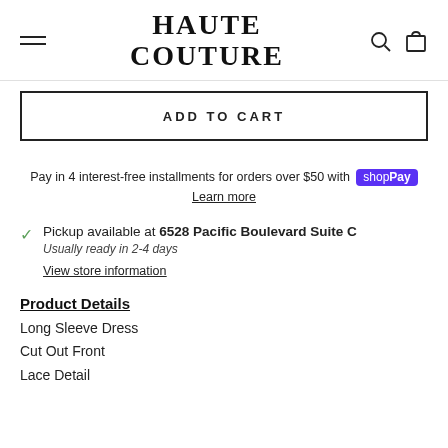HAUTE COUTURE
ADD TO CART
Pay in 4 interest-free installments for orders over $50 with shopPay
Learn more
Pickup available at 6528 Pacific Boulevard Suite C
Usually ready in 2-4 days
View store information
Product Details
Long Sleeve Dress
Cut Out Front
Lace Detail